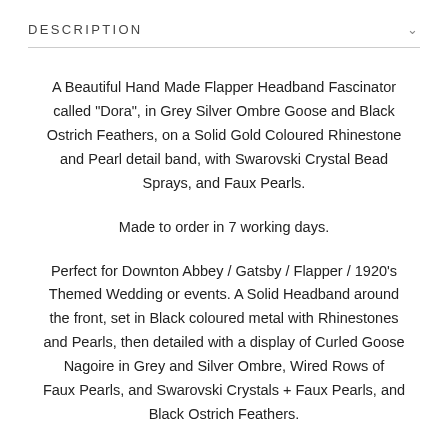DESCRIPTION
A Beautiful Hand Made Flapper Headband Fascinator called "Dora", in Grey Silver Ombre Goose and Black Ostrich Feathers, on a Solid Gold Coloured Rhinestone and Pearl detail band, with Swarovski Crystal Bead Sprays, and Faux Pearls.
Made to order in 7 working days.
Perfect for Downton Abbey / Gatsby / Flapper / 1920's Themed Wedding or events. A Solid Headband around the front, set in Black coloured metal with Rhinestones and Pearls, then detailed with a display of Curled Goose Nagoire in Grey and Silver Ombre, Wired Rows of Faux Pearls, and Swarovski Crystals + Faux Pearls, and Black Ostrich Feathers.
Headbands ties with doubled bands of Grey...